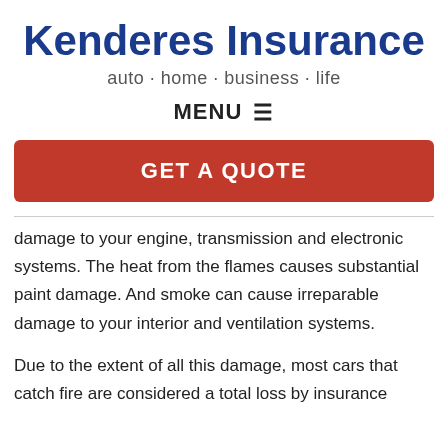Kenderes Insurance
auto · home · business · life
MENU ☰
GET A QUOTE
damage to your engine, transmission and electronic systems. The heat from the flames causes substantial paint damage. And smoke can cause irreparable damage to your interior and ventilation systems.
Due to the extent of all this damage, most cars that catch fire are considered a total loss by insurance